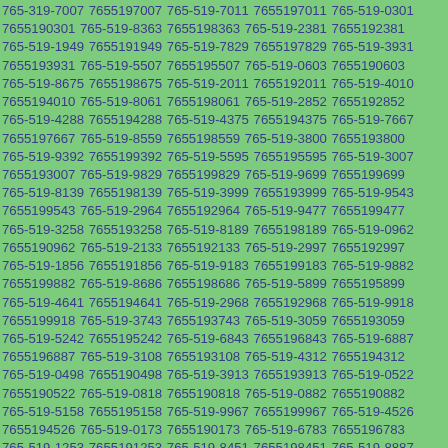765-319-7007 7655197007 765-519-7011 7655197011 765-519-0301 7655190301 765-519-8363 7655198363 765-519-2381 7655192381 765-519-1949 7655191949 765-519-7829 7655197829 765-519-3931 7655193931 765-519-5507 7655195507 765-519-0603 7655190603 765-519-8675 7655198675 765-519-2011 7655192011 765-519-4010 7655194010 765-519-8061 7655198061 765-519-2852 7655192852 765-519-4288 7655194288 765-519-4375 7655194375 765-519-7667 7655197667 765-519-8559 7655198559 765-519-3800 7655193800 765-519-9392 7655199392 765-519-5595 7655195595 765-519-3007 7655193007 765-519-9829 7655199829 765-519-9699 7655199699 765-519-8139 7655198139 765-519-3999 7655193999 765-519-9543 7655199543 765-519-2964 7655192964 765-519-9477 7655199477 765-519-3258 7655193258 765-519-8189 7655198189 765-519-0962 7655190962 765-519-2133 7655192133 765-519-2997 7655192997 765-519-1856 7655191856 765-519-9183 7655199183 765-519-9882 7655199882 765-519-8686 7655198686 765-519-5899 7655195899 765-519-4641 7655194641 765-519-2968 7655192968 765-519-9918 7655199918 765-519-3743 7655193743 765-519-3059 7655193059 765-519-5242 7655195242 765-519-6843 7655196843 765-519-6887 7655196887 765-519-3108 7655193108 765-519-4312 7655194312 765-519-0498 7655190498 765-519-3913 7655193913 765-519-0522 7655190522 765-519-0818 7655190818 765-519-0882 7655190882 765-519-5158 7655195158 765-519-9967 7655199967 765-519-4526 7655194526 765-519-0173 7655190173 765-519-6783 7655196783 765-519-1253 7655191253 765-519-8451 7655198451 765-519-8887 7655198887 765-519-3376 7655193376 765-519-1389 7655194389